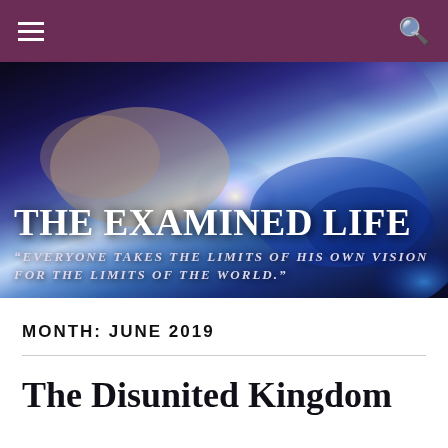[Figure (screenshot): Website navigation bar with dark purple/mauve background, hamburger menu icon on the left and search magnifying glass icon on the right, both in white.]
[Figure (photo): Hero banner image showing two hands nearly touching (one human, one robotic/circuit-board), with a glowing light burst at the point of contact, on a dark blue/purple cosmic background.]
THE EXAMINED LIFE
“EVERYONE TAKES THE LIMITS OF HIS OWN VISION FOR THE LIMITS OF THE WORLD.”
MONTH: JUNE 2019
The Disunited Kingdom